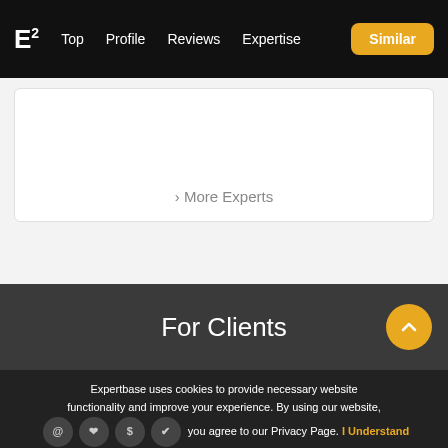E² | Top | Profile | Reviews | Expertise | Similar
> More Experts
For Clients
Expertbase uses cookies to provide necessary website functionality and improve your experience. By using our website, you agree to our Privacy Page. I Understand